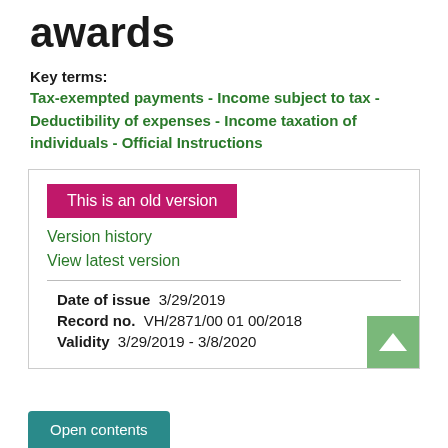awards
Key terms:
Tax-exempted payments - Income subject to tax - Deductibility of expenses - Income taxation of individuals - Official Instructions
This is an old version
Version history
View latest version
Date of issue  3/29/2019
Record no.  VH/2871/00 01 00/2018
Validity  3/29/2019 - 3/8/2020
Open contents